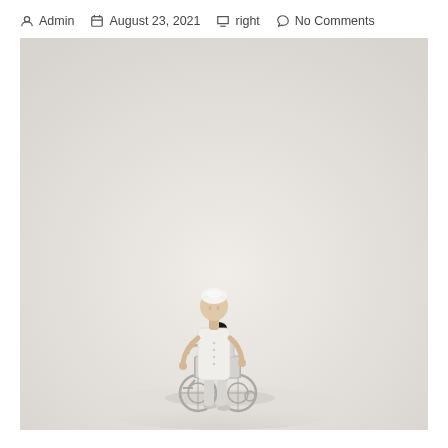Admin   August 23, 2021   right   No Comments
[Figure (photo): A miniature figurine of a nurse or healthcare worker in white uniform standing and assisting a patient in a wheelchair, both small toy/model figures against a plain light grey/beige background, viewed from slightly above and behind.]